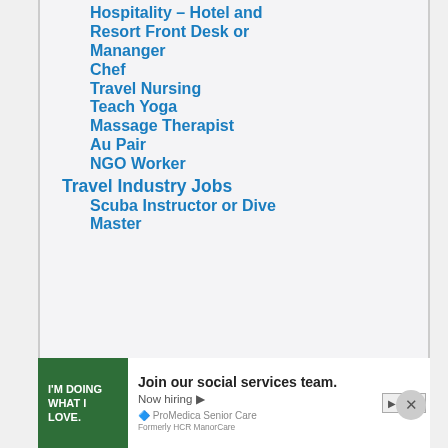Hospitality – Hotel and Resort Front Desk or Mananger
Chef
Travel Nursing
Teach Yoga
Massage Therapist
Au Pair
NGO Worker
Travel Industry Jobs
Scuba Instructor or Dive Master
Join our social services team. Now hiring ▶